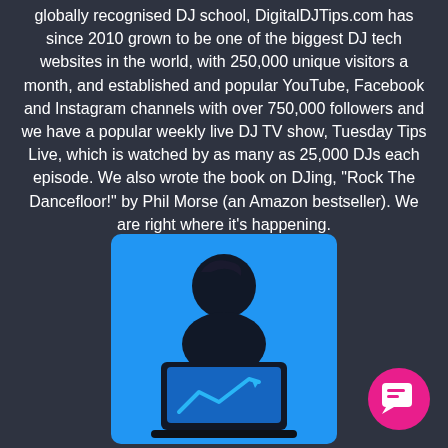globally recognised DJ school, DigitalDJTips.com has since 2010 grown to be one of the biggest DJ tech websites in the world, with 250,000 unique visitors a month, and established and popular YouTube, Facebook and Instagram channels with over 750,000 followers and we have a popular weekly live DJ TV show, Tuesday Tips Live, which is watched by as many as 25,000 DJs each episode. We also wrote the book on DJing, "Rock The Dancefloor!" by Phil Morse (an Amazon bestseller). We are right where it's happening.
[Figure (illustration): Blue square icon showing a person silhouette sitting at a laptop with an upward trending arrow chart on the screen]